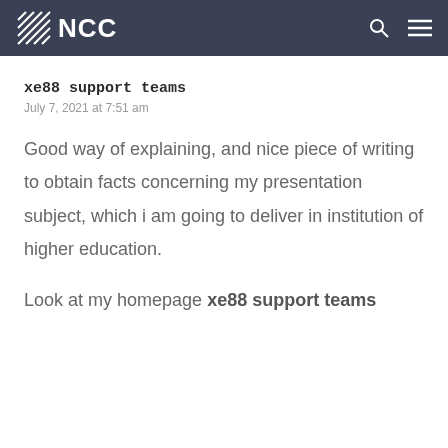NCC
xe88 support teams
July 7, 2021 at 7:51 am
Good way of explaining, and nice piece of writing to obtain facts concerning my presentation subject, which i am going to deliver in institution of higher education.
Look at my homepage xe88 support teams